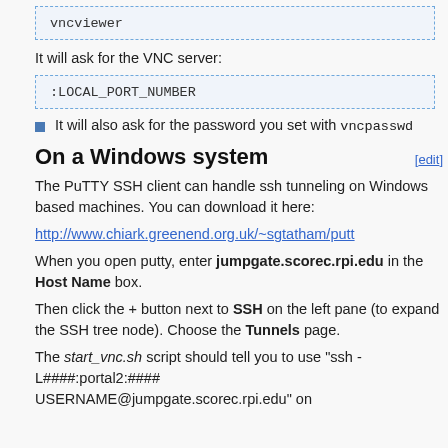[Figure (screenshot): Code box showing 'vncviewer']
It will ask for the VNC server:
[Figure (screenshot): Code box showing ':LOCAL_PORT_NUMBER']
It will also ask for the password you set with vncpasswd
On a Windows system
The PuTTY SSH client can handle ssh tunneling on Windows based machines. You can download it here:
http://www.chiark.greenend.org.uk/~sgtatham/putt
When you open putty, enter jumpgate.scorec.rpi.edu in the Host Name box.
Then click the + button next to SSH on the left pane (to expand the SSH tree node). Choose the Tunnels page.
The start_vnc.sh script should tell you to use "ssh -L####:portal2:#### USERNAME@jumpgate.scorec.rpi.edu" on